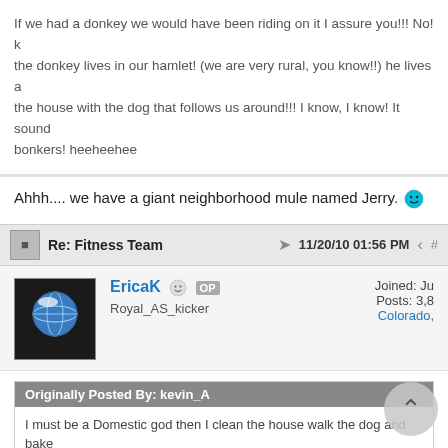If we had a donkey we would have been riding on it I assure you!!! No! the donkey lives in our hamlet! (we are very rural, you know!!) he lives a the house with the dog that follows us around!!! I know, I know! It sound bonkers! heeheehee
Ahhh.... we have a giant neighborhood mule named Jerry. 😄
Re: Fitness Team  11/20/10 01:56 PM  #
EricaK  OP
Royal_AS_kicker
Joined: Ju
Posts: 3,8
Colorado,
Originally Posted By: kevin_A
I must be a Domestic god then I clean the house walk the dog and bake cakes, And in my spare time I clean out the fish tanks, Clean out my gecko Ronnie and build model ships.